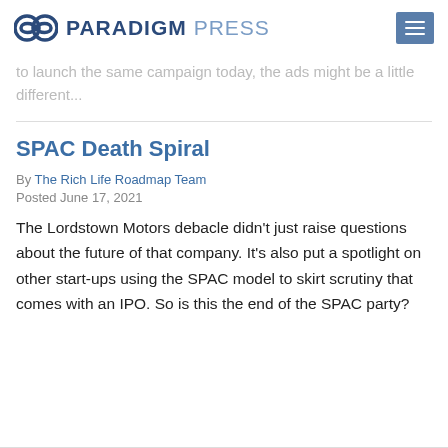PARADIGM PRESS
to launch the same campaign today, the ads might be a little different...
SPAC Death Spiral
By The Rich Life Roadmap Team
Posted June 17, 2021
The Lordstown Motors debacle didn't just raise questions about the future of that company. It's also put a spotlight on other start-ups using the SPAC model to skirt scrutiny that comes with an IPO. So is this the end of the SPAC party?